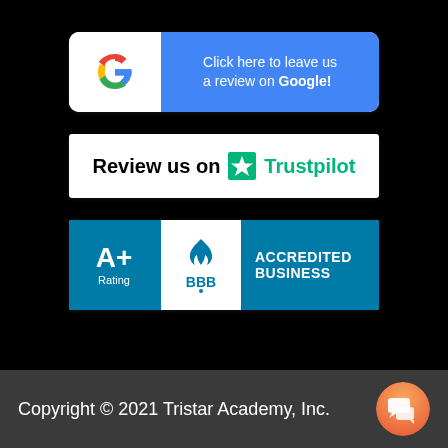[Figure (logo): Google review button: Google G logo on white left side, blue right side with text 'Click here to leave us a review on Google!']
[Figure (logo): Trustpilot review badge: white background with 'Review us on' followed by green star Trustpilot logo and text]
[Figure (logo): BBB Accredited Business badge: teal background showing A+ Rating on left, BBB logo in center, ACCREDITED BUSINESS text on right]
Copyright © 2021 Tristar Academy, Inc.